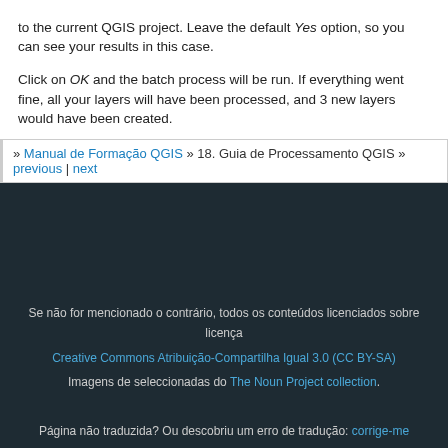to the current QGIS project. Leave the default Yes option, so you can see your results in this case.
Click on OK and the batch process will be run. If everything went fine, all your layers will have been processed, and 3 new layers would have been created.
» Manual de Formação QGIS » 18. Guia de Processamento QGIS »  previous | next
[Figure (screenshot): Dark background image block (screenshot of QGIS interface or similar)]
Se não for mencionado o contrário, todos os conteúdos licenciados sobre licença Creative Commons Atribuição-Compartilha Igual 3.0 (CC BY-SA)
Imagens de seleccionadas do The Noun Project collection.
Página não traduzida? Ou descobriu um erro de tradução: corrige-me
Erro textual, texto em falta ou sabe mais: corrige-me